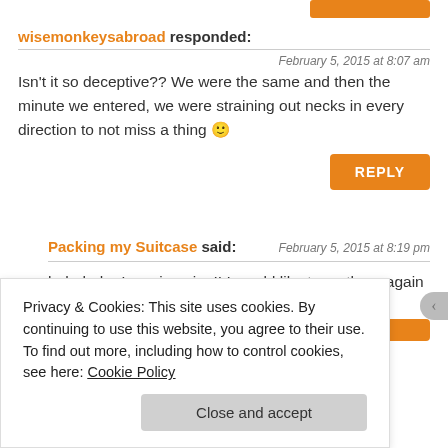wisemonkeysabroad responded:
February 5, 2015 at 8:07 am
Isn't it so deceptive?? We were the same and then the minute we entered, we were straining out necks in every direction to not miss a thing 🙂
REPLY
Packing my Suitcase said:
February 5, 2015 at 8:19 pm
hahahaha I can imagine!! I would like to go there again and pay more attention to the details 😀
Privacy & Cookies: This site uses cookies. By continuing to use this website, you agree to their use.
To find out more, including how to control cookies, see here: Cookie Policy
Close and accept